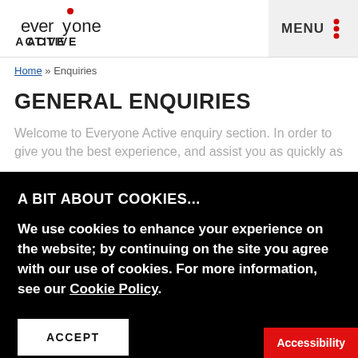[Figure (logo): Everyone Active logo with red dot above the 'y', text 'everyone active' in stylized font]
MENU
Home » Enquiries
GENERAL ENQUIRIES
Welcome to Everyone Active enquiry section. In order to give you the best experience, and assist you as quickly as
A BIT ABOUT COOKIES...
We use cookies to enhance your experience on the website; by continuing on the site you agree with our use of cookies. For more information, see our Cookie Policy.
ACCEPT
Accessibility